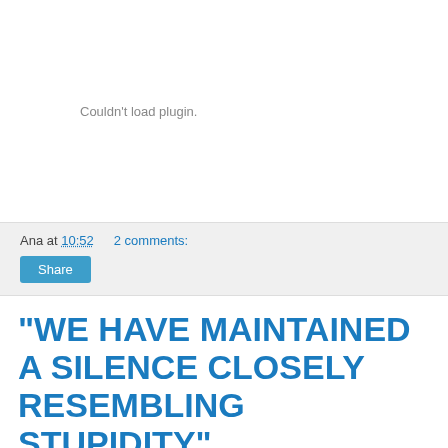[Figure (other): Plugin placeholder area showing 'Couldn't load plugin.' error message on white background]
Ana at 10:52    2 comments:
Share
"WE HAVE MAINTAINED A SILENCE CLOSELY RESEMBLING STUPIDITY"
[Figure (screenshot): Partial screenshot of a web page visible at the bottom, cut off]